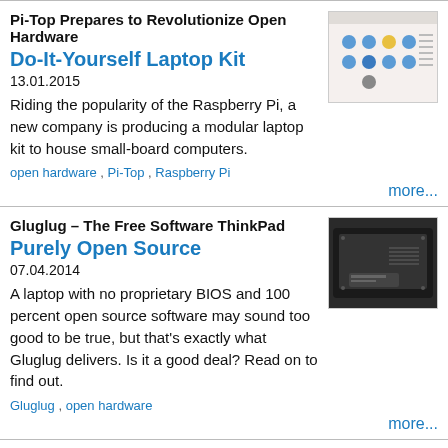Pi-Top Prepares to Revolutionize Open Hardware
Do-It-Yourself Laptop Kit
13.01.2015
Riding the popularity of the Raspberry Pi, a new company is producing a modular laptop kit to house small-board computers.
open hardware , Pi-Top , Raspberry Pi
more...
[Figure (screenshot): Screenshot of a software UI with colorful icons on a light background]
Gluglug – The Free Software ThinkPad
Purely Open Source
07.04.2014
A laptop with no proprietary BIOS and 100 percent open source software may sound too good to be true, but that's exactly what Gluglug delivers. Is it a good deal? Read on to find out.
Gluglug , open hardware
more...
[Figure (photo): Photo of the underside of a ThinkPad laptop, dark chassis]
KDE Open Hardware
Dot-Org Mobile Hardware
11.02.2014